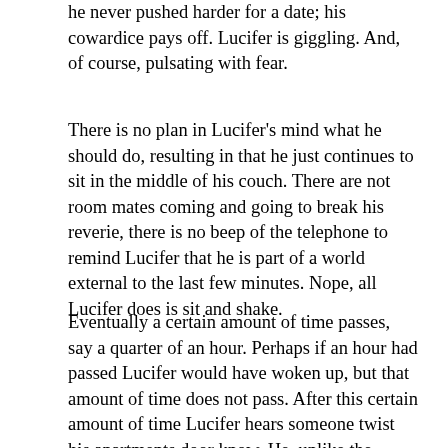he never pushed harder for a date; his cowardice pays off. Lucifer is giggling. And, of course, pulsating with fear.
There is no plan in Lucifer's mind what he should do, resulting in that he just continues to sit in the middle of his couch. There are not room mates coming and going to break his reverie, there is no beep of the telephone to remind Lucifer that he is part of a world external to the last few minutes. Nope, all Lucifer does is sit and shake.
Eventually a certain amount of time passes, say a quarter of an hour. Perhaps if an hour had passed Lucifer would have woken up, but that amount of time does not pass. After this certain amount of time Lucifer hears someone twist his apartments door know. He, unlike the murderer remembered to lock his door, and Lucifer giggles to himself before retching with horror as he hears a mechanical cutting noise and watches his door swing open.